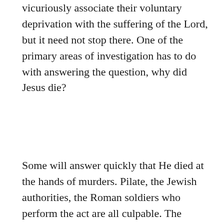vicuriously associate their voluntary deprivation with the suffering of the Lord, but it need not stop there. One of the primary areas of investigation has to do with answering the question, why did Jesus die?
Some will answer quickly that He died at the hands of murders. Pilate, the Jewish authorities, the Roman soldiers who perform the act are all culpable. The soldiers are certainly not innocent but cannot be said to be guilty, since after all, they were just following orders and to disobey would have meant their own demise. Pilate bears a bit more of the guilt, though his feeble attempts to disavow any guilt by washing his bloodied hands attempt to point the accusations elsewhere. The Jewish